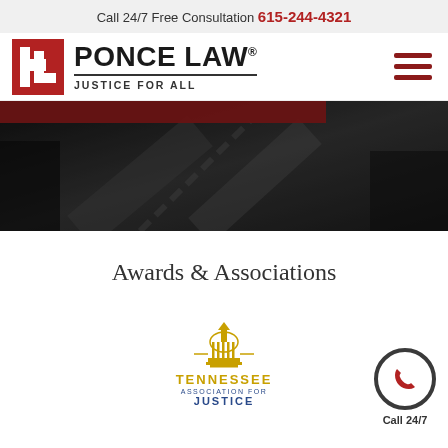Call 24/7 Free Consultation 615-244-4321
[Figure (logo): Ponce Law logo with stylized PL icon in red and black, text 'PONCE LAW JUSTICE FOR ALL']
[Figure (photo): Dark hero image showing a road/highway from above, with a dark red bar at the top]
Awards & Associations
[Figure (logo): Tennessee Association for Justice logo with gold capitol building dome icon and text in gold and dark blue]
Call 24/7